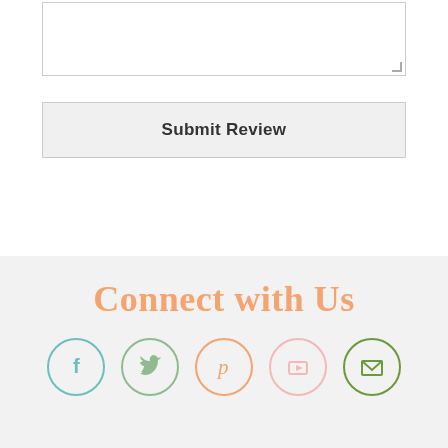[Figure (other): Empty textarea input box with resize handle in bottom right corner]
Submit Review
Connect with Us
[Figure (other): Row of 5 social media icons in circles: Facebook (teal), Twitter (green), Pinterest (orange), YouTube (pink), Email (dark green)]